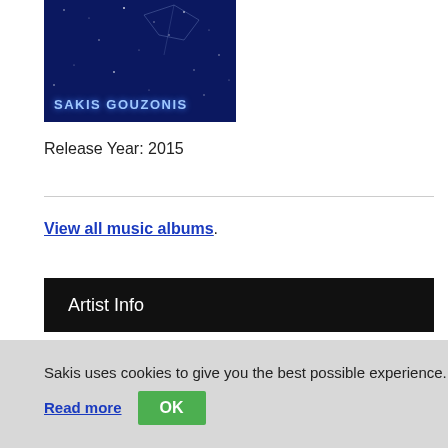[Figure (photo): Album cover with dark blue starry background and 'SAKIS GOUZONIS' text at bottom left in blue/white letters]
Release Year: 2015
View all music albums.
Artist Info
Sakis Gouzonis
Electronic Music Composer
[Figure (photo): Partial photo of Sakis Gouzonis in front of a stone wall, wearing a dark hat]
Sakis uses cookies to give you the best possible experience.
Read more  OK